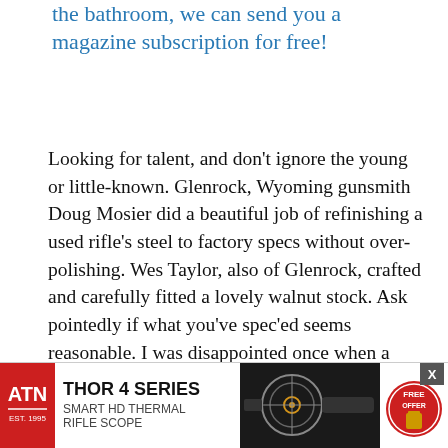the bathroom, we can send you a magazine subscription for free!
Looking for talent, and don't ignore the young or little-known. Glenrock, Wyoming gunsmith Doug Mosier did a beautiful job of refinishing a used rifle's steel to factory specs without over-polishing. Wes Taylor, also of Glenrock, crafted and carefully fitted a lovely walnut stock. Ask pointedly if what you've spec'ed seems reasonable. I was disappointed once when a gorgeous piece of walnut I'd selected arrived from a stocker who applied his own style. The stock shape was all wrong, despite my clear instructions.
The wait for custom work can make wind erosion on granit... have a preda...
[Figure (other): Advertisement banner for ATN Thor 4 Series Smart HD Thermal Rifle Scope with red ATN logo on left, product name text in center, rifle scope image on right, and a circular badge with free offer.]